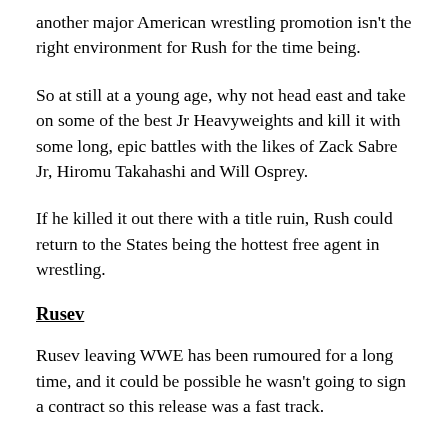another major American wrestling promotion isn't the right environment for Rush for the time being.
So at still at a young age, why not head east and take on some of the best Jr Heavyweights and kill it with some long, epic battles with the likes of Zack Sabre Jr, Hiromu Takahashi and Will Osprey.
If he killed it out there with a title ruin, Rush could return to the States being the hottest free agent in wrestling.
Rusev
Rusev leaving WWE has been rumoured for a long time, and it could be possible he wasn't going to sign a contract so this release was a fast track.